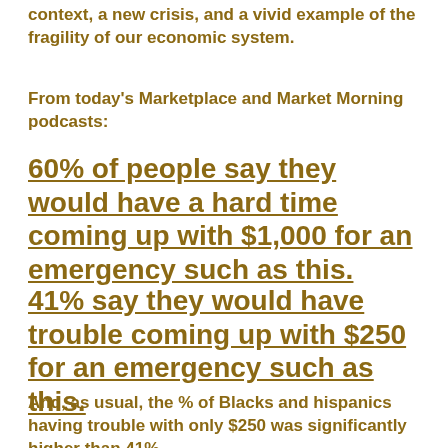context, a new crisis, and a vivid example of the fragility of our economic system.
From today's Marketplace and Market Morning podcasts:
60% of people say they would have a hard time coming up with $1,000 for an emergency such as this.
41% say they would have trouble coming up with $250 for an emergency such as this.
And, as usual, the % of Blacks and hispanics having trouble with only $250 was significantly higher than 41%.